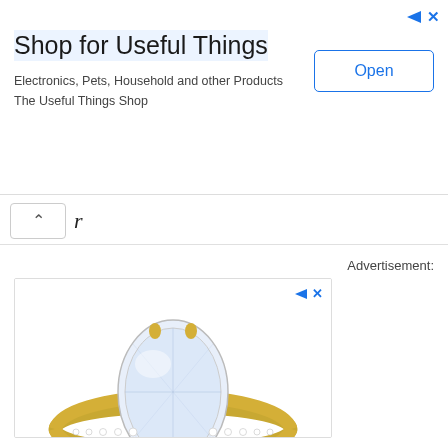[Figure (other): Advertisement banner: Shop for Useful Things — Electronics, Pets, Household and other Products. The Useful Things Shop. Open button on right.]
[Figure (other): Navigation search bar with up chevron and letter r]
Advertisement:
[Figure (photo): Advertisement for Ring Clearance Sale showing a diamond engagement ring with oval center stone on gold pave band. Text: Ring Clearance Sale. Ring Discounts.]